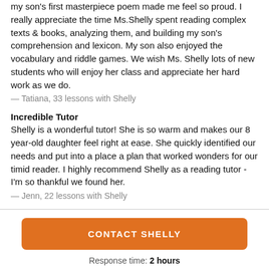my son's first masterpiece poem made me feel so proud. I really appreciate the time Ms.Shelly spent reading complex texts & books, analyzing them, and building my son's comprehension and lexicon. My son also enjoyed the vocabulary and riddle games. We wish Ms. Shelly lots of new students who will enjoy her class and appreciate her hard work as we do.
— Tatiana, 33 lessons with Shelly
Incredible Tutor
Shelly is a wonderful tutor! She is so warm and makes our 8 year-old daughter feel right at ease. She quickly identified our needs and put into a place a plan that worked wonders for our timid reader. I highly recommend Shelly as a reading tutor - I'm so thankful we found her.
— Jenn, 22 lessons with Shelly
CONTACT SHELLY
Response time: 2 hours